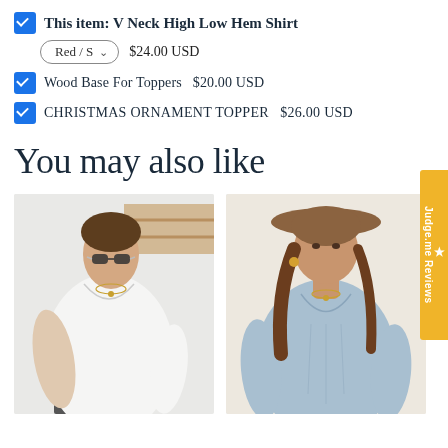This item: V Neck High Low Hem Shirt  Red / S  $24.00 USD
Wood Base For Toppers  $20.00 USD
CHRISTMAS ORNAMENT TOPPER  $26.00 USD
You may also like
[Figure (photo): Woman wearing white V-neck shirt with sunglasses]
[Figure (photo): Woman wearing light blue V-neck blouse with wide brim hat]